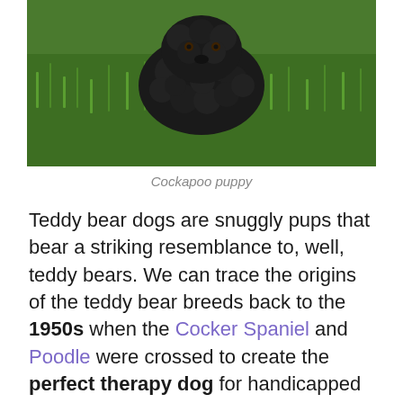[Figure (photo): A black curly-haired cockapoo puppy sitting on green grass, photographed from above.]
Cockapoo puppy
Teddy bear dogs are snuggly pups that bear a striking resemblance to, well, teddy bears. We can trace the origins of the teddy bear breeds back to the 1950s when the Cocker Spaniel and Poodle were crossed to create the perfect therapy dog for handicapped kids.